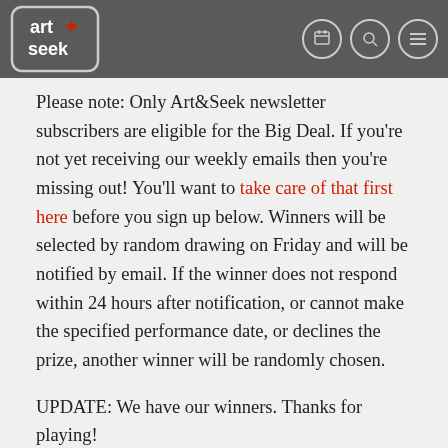[Figure (logo): Art&Seek logo in white on gray header bar with navigation icons]
Please note: Only Art&Seek newsletter subscribers are eligible for the Big Deal. If you're not yet receiving our weekly emails then you're missing out! You'll want to take care of that first here before you sign up below. Winners will be selected by random drawing on Friday and will be notified by email. If the winner does not respond within 24 hours after notification, or cannot make the specified performance date, or declines the prize, another winner will be randomly chosen.
UPDATE: We have our winners. Thanks for playing!
bass performance hall
Ben Folds
Big Deal
Fort Worth Symphony Orchestra
Music